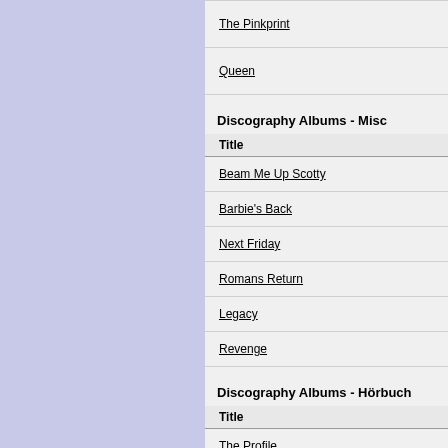The Pinkprint
Queen
Discography Albums - Misc
| Title |
| --- |
| Beam Me Up Scotty |
| Barbie's Back |
| Next Friday |
| Romans Return |
| Legacy |
| Revenge |
Discography Albums - Hörbuch
| Title |
| --- |
| The Profile |
NICKI MINAJ IN NORWEGIAN CHARTS
Singles